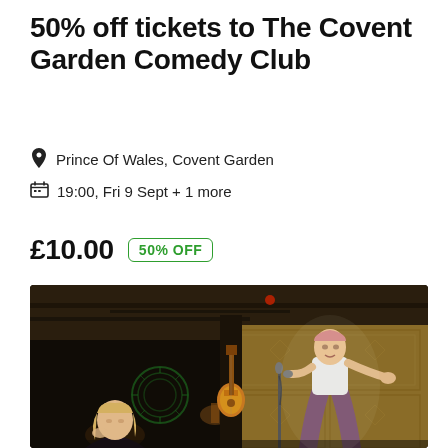50% off tickets to The Covent Garden Comedy Club
Prince Of Wales, Covent Garden
19:00, Fri 9 Sept + 1 more
£10.00  50% OFF
[Figure (photo): Indoor comedy club scene showing a performer on stage with a microphone, wearing a white top and purple wide-leg pants, gesturing with one hand. A guitar hangs on the wall behind them. An audience member is visible in the foreground left.]